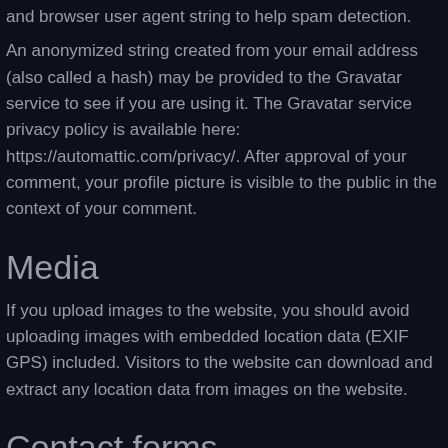and browser user agent string to help spam detection.
An anonymized string created from your email address (also called a hash) may be provided to the Gravatar service to see if you are using it. The Gravatar service privacy policy is available here: https://automattic.com/privacy/. After approval of your comment, your profile picture is visible to the public in the context of your comment.
Media
If you upload images to the website, you should avoid uploading images with embedded location data (EXIF GPS) included. Visitors to the website can download and extract any location data from images on the website.
Contact forms
Cookies